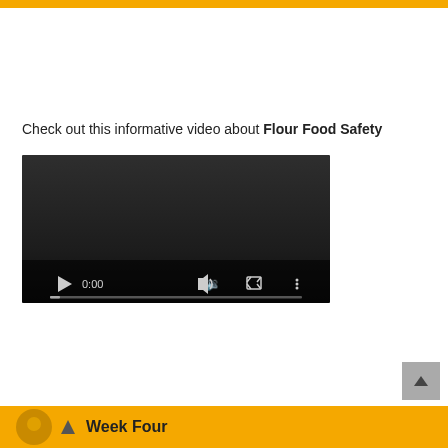Check out this informative video about Flour Food Safety
[Figure (screenshot): Embedded video player showing a dark/black screen with playback controls: play button, time display 0:00, volume icon, fullscreen icon, more options icon, and a progress bar at the bottom.]
Week Four